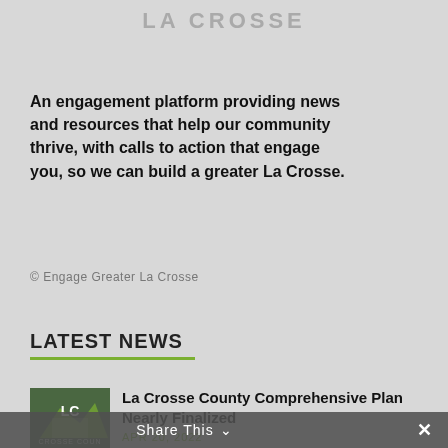LA CROSSE
An engagement platform providing news and resources that help our community thrive, with calls to action that engage you, so we can build a greater La Crosse.
© Engage Greater La Crosse
LATEST NEWS
[Figure (logo): La Crosse County logo with green hill graphic and 'LC' letters, text 'CROSSE COUN' visible]
La Crosse County Comprehensive Plan Nearly Finalized
APR 20, 2022
Share This ∨ ✕